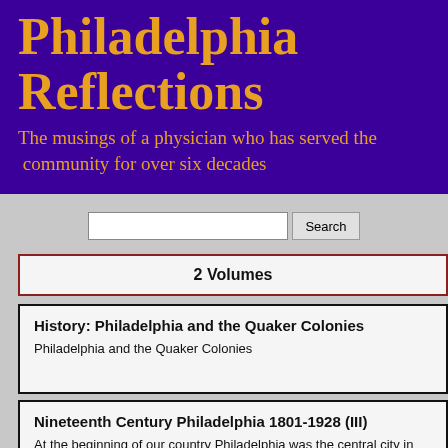Philadelphia Reflections
The musings of a physician who has served the community for over six decades
2 Volumes
History: Philadelphia and the Quaker Colonies
Philadelphia and the Quaker Colonies
Nineteenth Century Philadelphia 1801-1928 (III)
At the beginning of our country Philadelphia was the central city in America